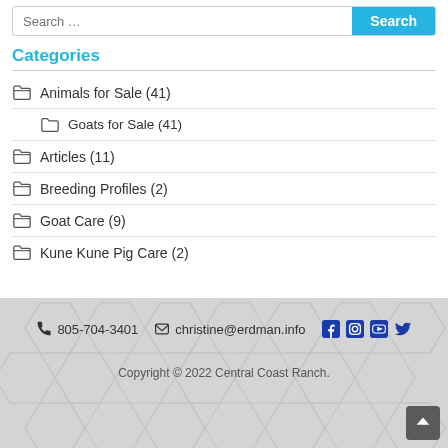Categories
Animals for Sale (41)
Goats for Sale (41)
Articles (11)
Breeding Profiles (2)
Goat Care (9)
Kune Kune Pig Care (2)
805-704-3401   christine@erdman.info   Copyright © 2022 Central Coast Ranch.